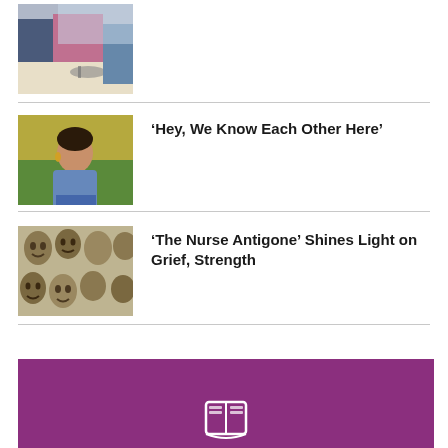[Figure (photo): Students sitting at a table, one wearing a pink jacket, with a stethoscope on the table]
[Figure (photo): Young woman smiling outdoors, sitting among green plants and autumn foliage]
‘Hey, We Know Each Other Here’
[Figure (photo): Multiple stone or clay face sculptures/masks mounted on a wall]
‘The Nurse Antigone’ Shines Light on Grief, Strength
[Figure (illustration): Purple banner with a white book/icon logo at the bottom of the page]